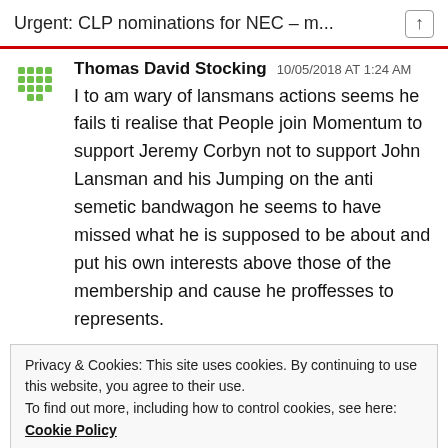Urgent: CLP nominations for NEC – m...
Thomas David Stocking 10/05/2018 AT 1:24 AM
I to am wary of lansmans actions seems he fails ti realise that People join Momentum to support Jeremy Corbyn not to support John Lansman and his Jumping on the anti semetic bandwagon he seems to have missed what he is supposed to be about and put his own interests above those of the membership and cause he proffesses to represents.
Privacy & Cookies: This site uses cookies. By continuing to use this website, you agree to their use.
To find out more, including how to control cookies, see here: Cookie Policy
Close and accept
pimatters  10/05/2018 AT 7:34 AM